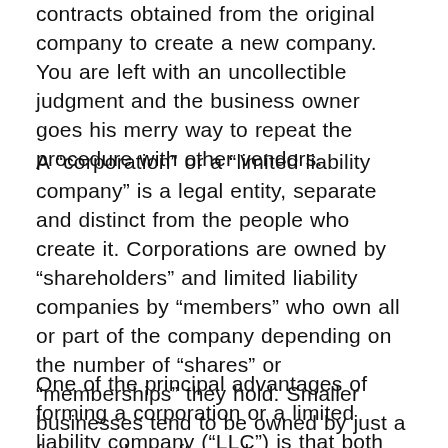contracts obtained from the original company to create a new company. You are left with an uncollectible judgment and the business owner goes his merry way to repeat the procedure with other vendors.
A “corporation” or a “limited liability company” is a legal entity, separate and distinct from the people who create it. Corporations are owned by “shareholders” and limited liability companies by “members” who own all or part of the company depending on the number of “shares” or “memberships” they hold. Smaller businesses tend to be owned by just a few people – often only one person. These types of businesses are called “closely held corporations” or “close corporations” for short.
One of the principal advantages of forming a corporation or a limited liability company (“LLC”) is that both the managers and the owners have limited liability for the company’s debts. Unlike partnerships and sole proprietorships, the people who own and